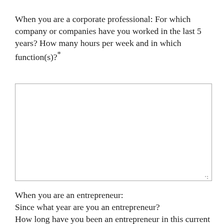When you are a corporate professional: For which company or companies have you worked in the last 5 years? How many hours per week and in which function(s)?*
When you are an entrepreneur: Since what year are you an entrepreneur? How long have you been an entrepreneur in this current company? Can you describe your company: What do you offer which customers do you serve etc.